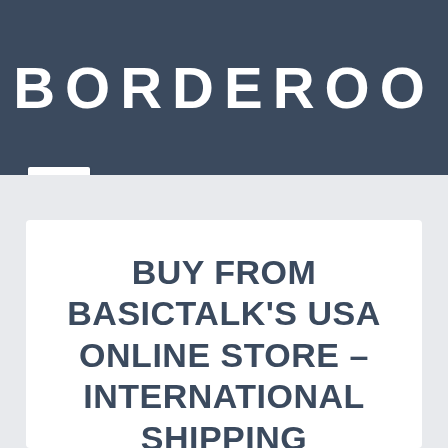BORDEROO
BUY FROM BASICTALK'S USA ONLINE STORE – INTERNATIONAL SHIPPING
[Figure (logo): BasicTalk logo with 'Basic' in orange and 'Talk' in blue, followed by a trademark symbol]